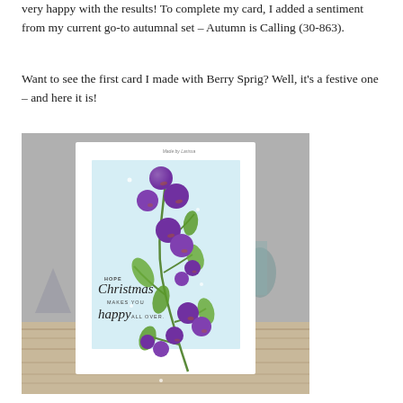very happy with the results! To complete my card, I added a sentiment from my current go-to autumnal set – Autumn is Calling (30-863).
Want to see the first card I made with Berry Sprig? Well, it's a festive one – and here it is!
[Figure (photo): A handmade greeting card featuring purple berry sprig stamps on a white card with a light blue watercolor background panel. The card shows large and small purple round berries on green stems with leaves. A Christmas sentiment reads 'HOPE Christmas MAKES YOU happy ALL OVER.' The card is photographed on a wooden surface with decorative items in the background.]